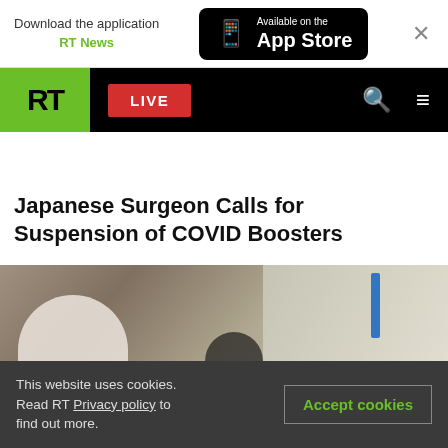Download the application RT News | Available on the App Store
[Figure (screenshot): RT News navigation bar with green RT logo, red LIVE button, search and menu icons on black background]
Japanese Surgeon Calls for Suspension of COVID Boosters
[Figure (photo): Photo of people in white protective clothing/hazmat suits]
This website uses cookies. Read RT Privacy policy to find out more.
Accept cookies